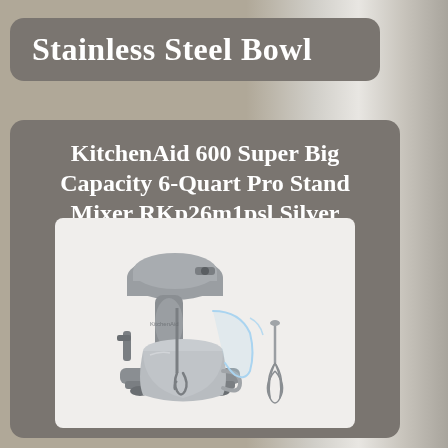Stainless Steel Bowl
KitchenAid 600 Super Big Capacity 6-Quart Pro Stand Mixer RKp26m1psl Silver
[Figure (photo): KitchenAid 600 Pro Stand Mixer in silver color with stainless steel bowl, dough hook, and wire whisk attachments, on white background]